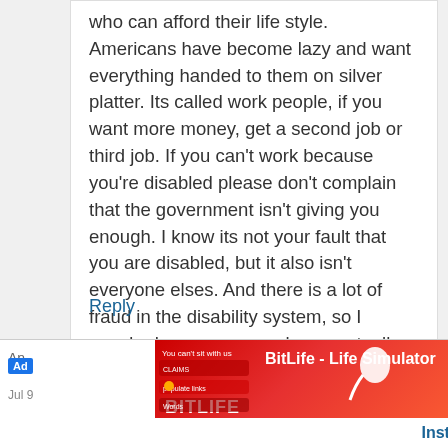who can afford their life style. Americans have become lazy and want everything handed to them on silver platter. Its called work people, if you want more money, get a second job or third job. If you can't work because you're disabled please don't complain that the government isn't giving you enough. I know its not your fault that you are disabled, but it also isn't everyone elses. And there is a lot of fraud in the disability system, so I wonder how many people are actually unable to work to those who are just looking for free money.
Reply
[Figure (other): Advertisement for BitLife - Life Simulator mobile app with red/orange background and app screenshot]